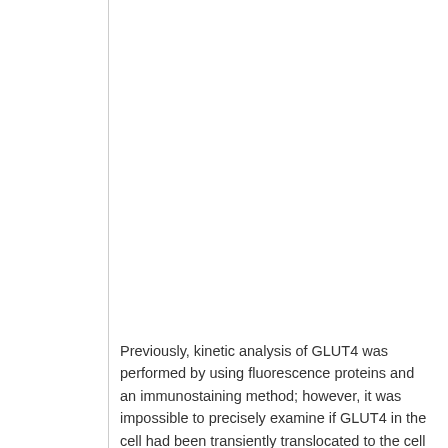Previously, kinetic analysis of GLUT4 was performed by using fluorescence proteins and an immunostaining method; however, it was impossible to precisely examine if GLUT4 in the cell had been transiently translocated to the cell membrane.